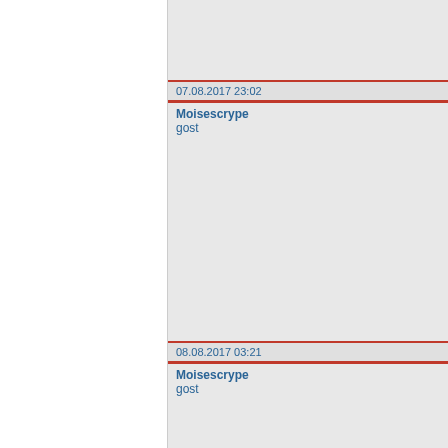| Timestamp | Author/Content |
| --- | --- |
| 07.08.2017 23:02 | Moisescrype
gost |
| 08.08.2017 03:21 | Moisescrype
gost |
| 08.08.2017 07:33 | loans
gost |
| 08.08.2017 17:46 |  |